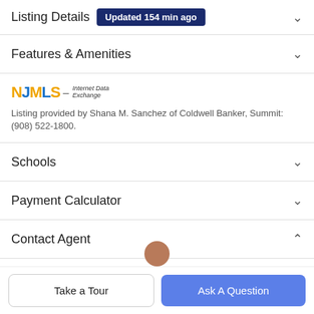Listing Details Updated 154 min ago
Features & Amenities
[Figure (logo): NJMLS Internet Data Exchange logo]
Listing provided by Shana M. Sanchez of Coldwell Banker, Summit: (908) 522-1800.
Schools
Payment Calculator
Contact Agent
Take a Tour
Ask A Question